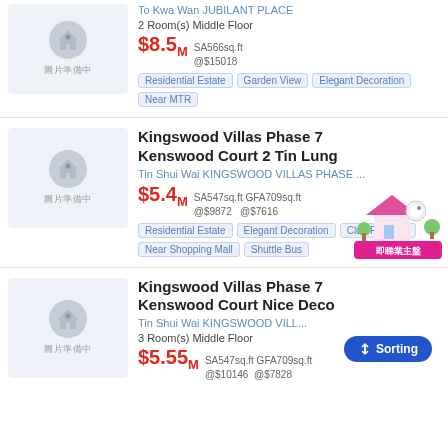[Figure (screenshot): Partial property listing: To Kwa Wan JUBILANT PLACE, 2 Room(s) Middle Floor, $8.5M, SA566sq.ft @$15018, tags: Residential Estate, Garden View, Elegant Decoration, Near MTR]
[Figure (screenshot): Property listing: Kingswood Villas Phase 7 Kenswood Court 2 Tin Lung, Tin Shui Wai KINGSWOOD VILLAS PHASE ..., $5.4M, SA547sq.ft GFA709sq.ft @$9872 @$7616, tags: Residential Estate, Elegant Decoration, Club Facilities, Near Shopping Mall, Shuttle Bus. Has owner badge overlay.]
[Figure (screenshot): Property listing: Kingswood Villas Phase 7 Kenswood Court Nice Deco, Tin Shui Wai KINGSWOOD VILL..., 3 Room(s) Middle Floor, $5.55M, SA547sq.ft GFA709sq.ft @$10146 @$7828. Has Sorting button overlay.]